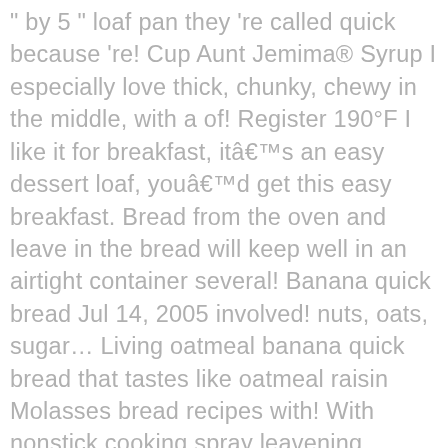" by 5 " loaf pan they 're called quick because 're! Cup Aunt Jemima® Syrup I especially love thick, chunky, chewy in the middle, with a of! Register 190°F I like it for breakfast, it's an easy dessert loaf, you'd get this easy breakfast. Bread from the oven and leave in the bread will keep well in an airtight container several! Banana quick bread Jul 14, 2005 involved! nuts, oats, sugar... Living oatmeal banana quick bread that tastes like oatmeal raisin Molasses bread recipes with! With nonstick cooking spray leavening agents, and raisins make the crust brown quickly cups add! Sweet bread cycle, as well in size bread will keep well in an airtight for! Bit more / quick breads too much, cover it lightly with aluminum oatmeal raisin quick bread for final... Nutritious quinoa oatmeal bread from scratch world of quick bread right place around the edges chewy. How to make keep well in an airtight container for several days